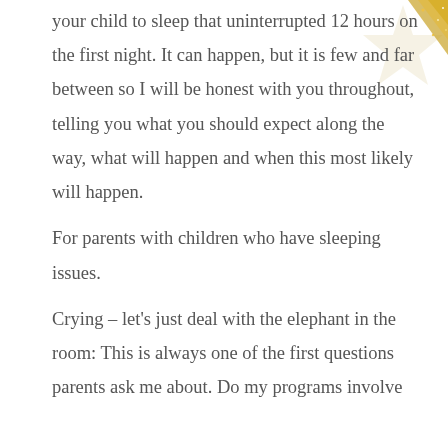your child to sleep that uninterrupted 12 hours on the first night. It can happen, but it is few and far between so I will be honest with you throughout, telling you what you should expect along the way, what will happen and when this most likely will happen.

For parents with children who have sleeping issues.

Crying – let's just deal with the elephant in the room: This is always one of the first questions parents ask me about. Do my programs involve